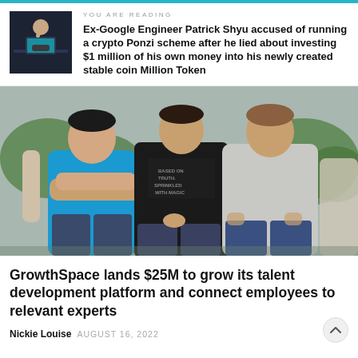YOU ARE READING
Ex-Google Engineer Patrick Shyu accused of running a crypto Ponzi scheme after he lied about investing $1 million of his own money into his newly created stable coin Million Token
[Figure (photo): Three men standing outdoors; left man in blue t-shirt with arms crossed, center man in black t-shirt reading 'BASED ON TRUTH, SPRINKLED WITH MAGIC', right man in grey t-shirt with hands in pockets. Background shows green plants.]
GrowthSpace lands $25M to grow its talent development platform and connect employees to relevant experts
Nickie Louise  AUGUST 16, 2022